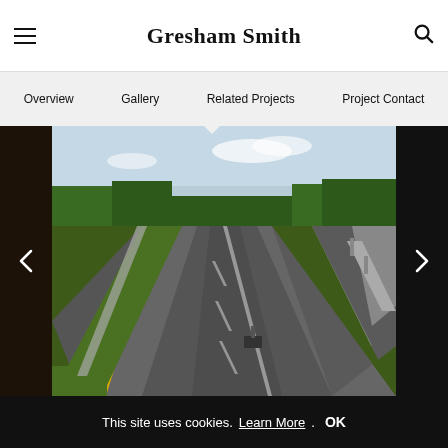Gresham Smith
Overview  Gallery  Related Projects  Project Contact
[Figure (photo): Aerial view of a multi-lane highway interchange with green grass median and tree-lined horizon under partly cloudy sky]
This site uses cookies. Learn More. OK